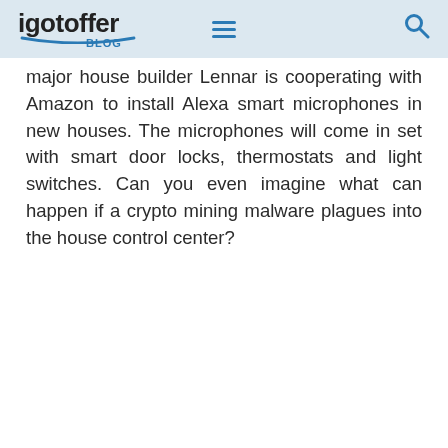igotoffer BLOG
major house builder Lennar is cooperating with Amazon to install Alexa smart microphones in new houses. The microphones will come in set with smart door locks, thermostats and light switches. Can you even imagine what can happen if a crypto mining malware plagues into the house control center?